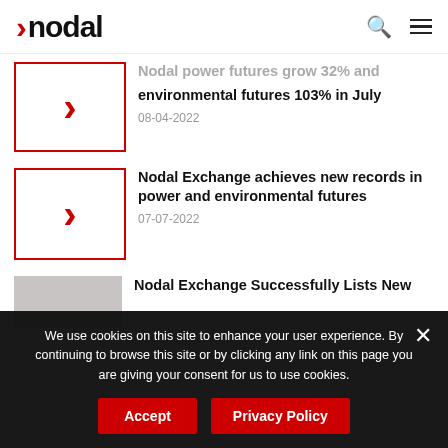nodal
Nodal power futures grow 32% and environmental futures 103% in July
08-04-2022
Nodal Exchange achieves new records in power and environmental futures
07-07-2022
Nodal Exchange Successfully Lists New
We use cookies on this site to enhance your user experience. By continuing to browse this site or by clicking any link on this page you are giving your consent for us to use cookies.
Accept
Privacy Policy